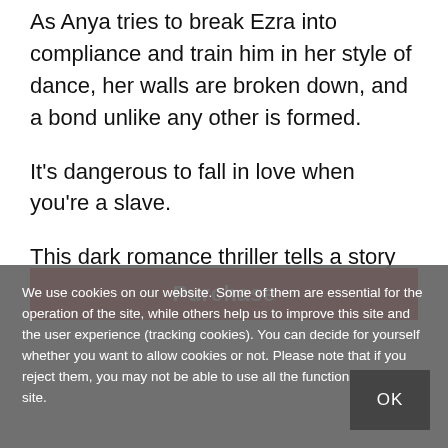As Anya tries to break Ezra into compliance and train him in her style of dance, her walls are broken down, and a bond unlike any other is formed.
It's dangerous to fall in love when you're a slave.
This dark romance thriller tells a story of love against all odds.
Purchase
We use cookies on our website. Some of them are essential for the operation of the site, while others help us to improve this site and the user experience (tracking cookies). You can decide for yourself whether you want to allow cookies or not. Please note that if you reject them, you may not be able to use all the functionalities of the site.
OK